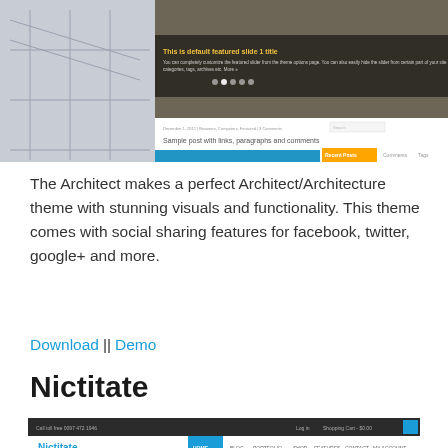[Figure (screenshot): Screenshot of The Architect WordPress theme showing a featured slider with construction/architecture image and a blog post preview below it.]
The Architect makes a perfect Architect/Architecture theme with stunning visuals and functionality. This theme comes with social sharing features for facebook, twitter, google+ and more.
Download || Demo
Nictitate
[Figure (screenshot): Screenshot of Nictitate WordPress theme showing a dark header bar, white navigation with logo and menu items (HOME, BLOG, PORTFOLIO, SHOP, FEATURES, CONTACT, MY ACCOUNT), and a blue hero section below.]